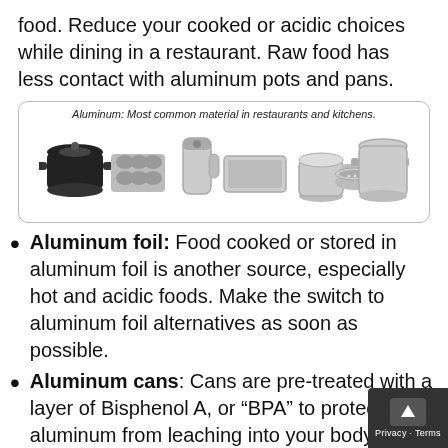food. Reduce your cooked or acidic choices while dining in a restaurant. Raw food has less contact with aluminum pots and pans.
[Figure (photo): Photo of various aluminum kitchen cookware including a pot, muffin tin, thermos/jug, baking pan, saucepan, strainer/colander, and large stock pot, with caption: Aluminum: Most common material in restaurants and kitchens.]
Aluminum foil: Food cooked or stored in aluminum foil is another source, especially hot and acidic foods. Make the switch to aluminum foil alternatives as soon as possible.
Aluminum cans: Cans are pre-treated with a layer of Bisphenol A, or “BPA” to protect aluminum from leaching into your body. However, sadly, drinking from plastic lining can expose you to toxic levels of BPA. Dented cans are dangerous sources of aluminum leakage, and are not allowed to be Although aluminum cans are recyclable,